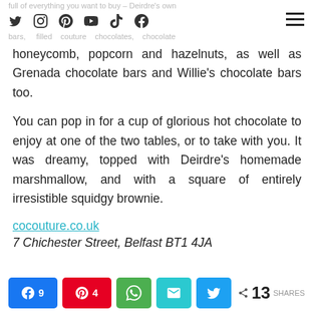full of everything you want to buy – Deirdre's own bars, filled couture chocolates, chocolate
honeycomb, popcorn and hazelnuts, as well as Grenada chocolate bars and Willie's chocolate bars too.
You can pop in for a cup of glorious hot chocolate to enjoy at one of the two tables, or to take with you. It was dreamy, topped with Deirdre's homemade marshmallow, and with a square of entirely irresistible squidgy brownie.
cocouture.co.uk
7 Chichester Street, Belfast BT1 4JA
Facebook 9, Pinterest 4, WhatsApp, Email, Twitter, < 13 SHARES